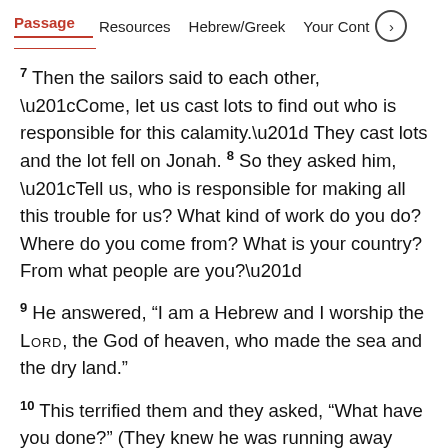Passage   Resources   Hebrew/Greek   Your Cont >
7 Then the sailors said to each other, “Come, let us cast lots to find out who is responsible for this calamity.” They cast lots and the lot fell on Jonah. 8 So they asked him, “Tell us, who is responsible for making all this trouble for us? What kind of work do you do? Where do you come from? What is your country? From what people are you?”
9 He answered, “I am a Hebrew and I worship the LORD, the God of heaven, who made the sea and the dry land.”
10 This terrified them and they asked, “What have you done?” (They knew he was running away from the LORD, because he had already told them so.)